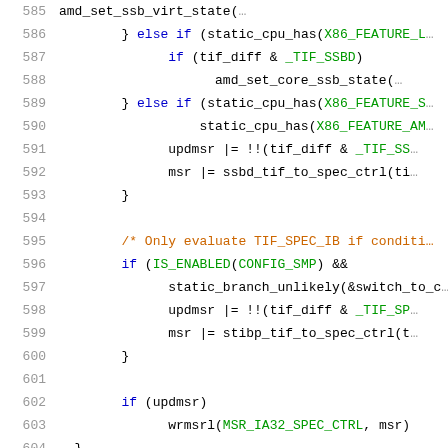[Figure (screenshot): Source code listing showing lines 585-605 of a C kernel file dealing with speculative store bypass (SSB) and indirect branch prediction (STIBP) MSR updates. Lines include amd_set_ssb_virt_state, amd_set_core_ssb_state, updmsr, msr assignments, a comment about TIF_SPEC_IB, IS_ENABLED(CONFIG_SMP) condition, static_branch_unlikely, wrmsrl call, and closing braces.]